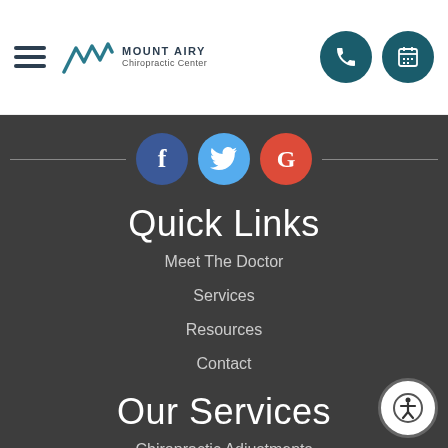Mount Airy Chiropractic Center — navigation header with logo, hamburger menu, phone and calendar icons
[Figure (logo): Mount Airy Chiropractic Center logo with mountain peaks icon and text]
[Figure (infographic): Social media icons: Facebook (blue circle with f), Twitter (light blue circle with bird), Google (red circle with G)]
Quick Links
Meet The Doctor
Services
Resources
Contact
Our Services
Chiropractic Adjustments
Injuries